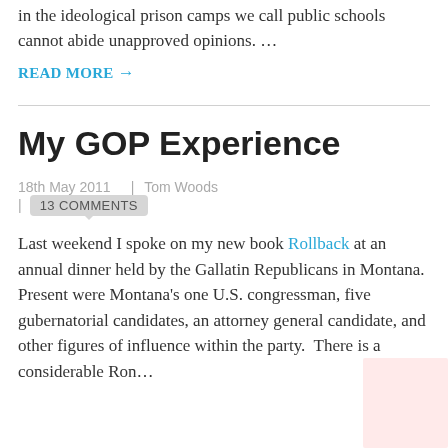in the ideological prison camps we call public schools cannot abide unapproved opinions. …
READ MORE →
My GOP Experience
18th May 2011  |  Tom Woods  |  13 COMMENTS
Last weekend I spoke on my new book Rollback at an annual dinner held by the Gallatin Republicans in Montana. Present were Montana's one U.S. congressman, five gubernatorial candidates, an attorney general candidate, and other figures of influence within the party.  There is a considerable Ron…